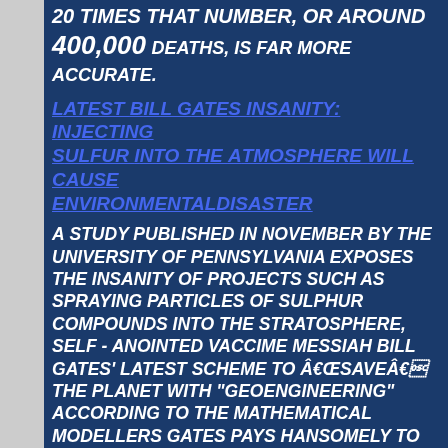20 TIMES THAT NUMBER, OR AROUND 400,000 DEATHS, IS FAR MORE ACCURATE.
LATEST BILL GATES INSANITY: INJECTING SULFUR INTO THE ATMOSPHERE WILL CAUSE ENVIRONMENTAL DISASTER
A STUDY PUBLISHED IN NOVEMBER BY THE UNIVERSITY OF PENNSYLVANIA EXPOSES THE INSANITY OF PROJECTS SUCH AS SPRAYING PARTICLES OF SULPHUR COMPOUNDS INTO THE STRATOSPHERE, SELF - ANOINTED VACCIME MESSIAH BILL GATES' LATEST SCHEME TO â€œSAVEâ€ THE PLANET WITH "GEOENGINEERING" ACCORDING TO THE MATHEMATICAL MODELLERS GATES PAYS HANSOMELY TO PROVIDE HIM WITH "SCIENTIFIC" DATA TO PERSUADE POLITICAL